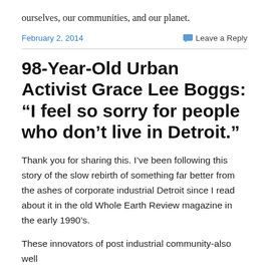ourselves, our communities, and our planet.
February 2, 2014
Leave a Reply
98-Year-Old Urban Activist Grace Lee Boggs: “I feel so sorry for people who don’t live in Detroit.”
Thank you for sharing this. I’ve been following this story of the slow rebirth of something far better from the ashes of corporate industrial Detroit since I read about it in the old Whole Earth Review magazine in the early 1990’s.
These innovators of post industrial community-also well